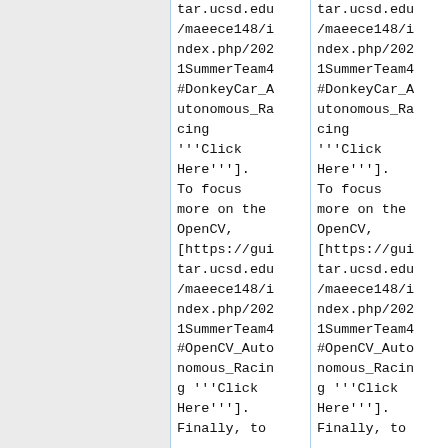tar.ucsd.edu/maeece148/index.php/2021SummerTeam4#DonkeyCar_Autonomous_Racing '''Click Here''']. To focus more on the OpenCV, [https://guitar.ucsd.edu/maeece148/index.php/2021SummerTeam4#OpenCV_Autonomous_Racing '''Click Here''']. Finally, to
tar.ucsd.edu/maeece148/index.php/2021SummerTeam4#DonkeyCar_Autonomous_Racing '''Click Here''']. To focus more on the OpenCV, [https://guitar.ucsd.edu/maeece148/index.php/2021SummerTeam4#OpenCV_Autonomous_Racing '''Click Here''']. Finally, to